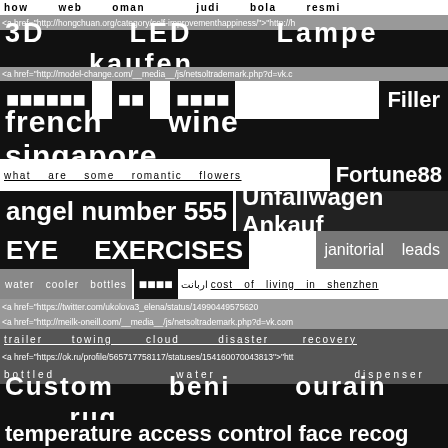how web oman judi bola resmi
<a href="http://hongchuan.org/category/self-improvementhappiness/">"http://h
3D LED Lampe kaufen
<a href="http://model-change.com/__media__/js/netsoltrademark.php?d=vk.c
ماندگار فیلم Filler
french wine singapore
what are some romantic flowers
Fortune88
angel number 555
Unfallwagen Ankauf
EYE EXERCISES
janitorial leads
water cooler bottles اربانت cost of living in shenzhen
<a href="https://twitter.com/ukolova3_elena/status/14990449575620
<a href="http://meilk-oneill.com/__media__/js/netsoltrademark.php?d=vk.com
trailer towing cloud disaster recovery
<a href="https://ok.ru/profile/565717758117/statuses/154160070043813">"htt
bottled water dispenser
Custom beni ourain rug
temperature access control face recog
chief marketing officer executive search recruiters
BMW ROUTE MAPS
buy 50k instagram followers cheap
best factoring company
nootropic stack